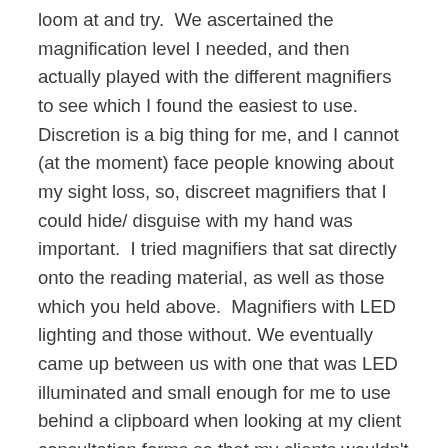loom at and try.  We ascertained the magnification level I needed, and then actually played with the different magnifiers to see which I found the easiest to use.  Discretion is a big thing for me, and I cannot (at the moment) face people knowing about my sight loss, so, discreet magnifiers that I could hide/ disguise with my hand was important.  I tried magnifiers that sat directly onto the reading material, as well as those which you held above.  Magnifiers with LED lighting and those without. We eventually came up between us with one that was LED illuminated and small enough for me to use behind a clipboard when looking at my client consultation forms so that my clients wouldn't necessarily know I was doing this.  It also worked a treat for reading books at home, and